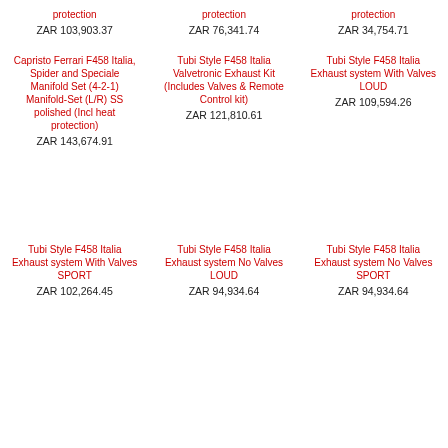protection ZAR 103,903.37 | protection ZAR 76,341.74 | protection ZAR 34,754.71
Capristo Ferrari F458 Italia, Spider and Speciale Manifold Set (4-2-1) Manifold-Set (L/R) SS polished (Incl heat protection) ZAR 143,674.91 | Tubi Style F458 Italia Valvetronic Exhaust Kit (Includes Valves & Remote Control kit) ZAR 121,810.61 | Tubi Style F458 Italia Exhaust system With Valves LOUD ZAR 109,594.26
Tubi Style F458 Italia Exhaust system With Valves SPORT ZAR 102,264.45 | Tubi Style F458 Italia Exhaust system No Valves LOUD ZAR 94,934.64 | Tubi Style F458 Italia Exhaust system No Valves SPORT ZAR 94,934.64